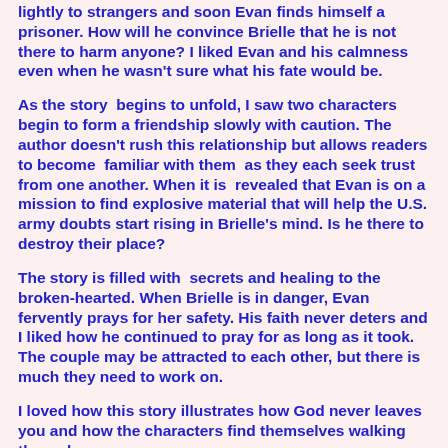lightly to strangers and soon Evan finds himself a prisoner. How will he convince Brielle that he is not there to harm anyone? I liked Evan and his calmness even when he wasn't sure what his fate would be.
As the story  begins to unfold, I saw two characters begin to form a friendship slowly with caution. The author doesn't rush this relationship but allows readers to become  familiar with them  as they each seek trust from one another. When it is  revealed that Evan is on a mission to find explosive material that will help the U.S. army doubts start rising in Brielle's mind. Is he there to destroy their place?
The story is filled with  secrets and healing to the broken-hearted. When Brielle is in danger, Evan fervently prays for her safety. His faith never deters and I liked how he continued to pray for as long as it took. The couple may be attracted to each other, but there is much they need to work on.
I loved how this story illustrates how God never leaves  you and how the characters find themselves walking through